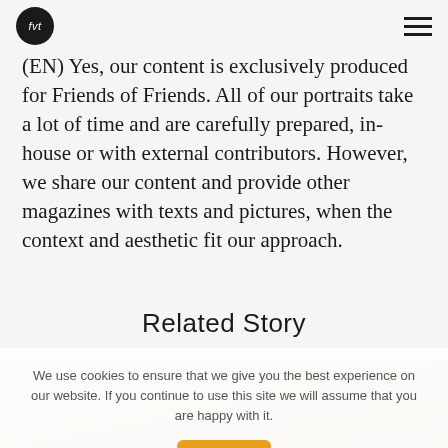fvt [logo] [hamburger menu]
(EN) Yes, our content is exclusively produced for Friends of Friends. All of our portraits take a lot of time and are carefully prepared, in-house or with external contributors. However, we share our content and provide other magazines with texts and pictures, when the context and aesthetic fit our approach.
Related Story
We use cookies to ensure that we give you the best experience on our website. If you continue to use this site we will assume that you are happy with it.
Ok